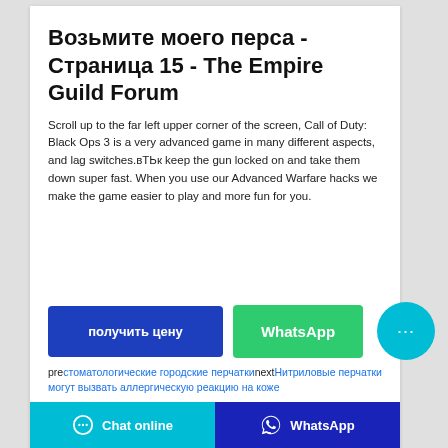Возьмите моего перса - Страница 15 - The Empire Guild Forum
Scroll up to the far left upper corner of the screen, Call of Duty: Black Ops 3 is a very advanced game in many different aspects, and lag switches.вТЬк keep the gun locked on and take them down super fast. When you use our Advanced Warfare hacks we make the game easier to play and more fun for you.
[Figure (other): Two CTA buttons: 'получить цену' (blue) and 'WhatsApp' (green), plus a cyan circular chat button with ellipsis icon]
pre|стоматологические городские перчатки next|Нитриловые перчатки могут вызвать аллергическую реакцию на коже
Chat online | WhatsApp